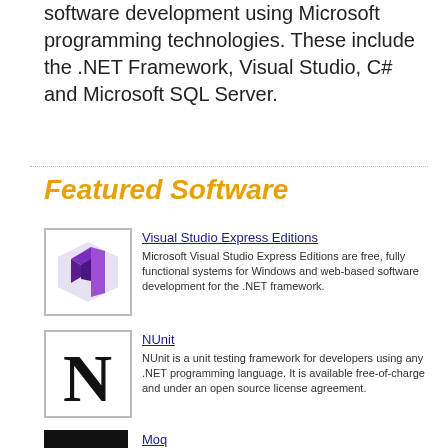software development using Microsoft programming technologies. These include the .NET Framework, Visual Studio, C# and Microsoft SQL Server.
Featured Software
[Figure (logo): Visual Studio logo - purple diamond shape]
Visual Studio Express Editions
Microsoft Visual Studio Express Editions are free, fully functional systems for Windows and web-based software development for the .NET framework.
[Figure (logo): NUnit logo - large letter N on white background]
NUnit
NUnit is a unit testing framework for developers using any .NET programming language. It is available free-of-charge and under an open source license agreement.
[Figure (logo): Moq logo - moq text in orange on black background]
Moq
Moq is a powerful, yet easy to use, mocking framework for .NET developers. It is available free-of-charge and under an open source license agreement.